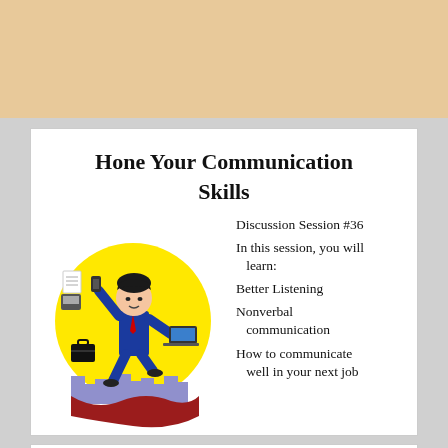[Figure (illustration): Tan/beige banner area at top of page]
Hone Your Communication Skills
[Figure (illustration): Cartoon businessman in blue suit juggling multiple business items (briefcase, phone, calculator, laptop) standing in a yellow circle above a city skyline silhouette]
Discussion Session #36
In this session, you will learn:
Better Listening
Nonverbal communication
How to communicate well in your next job
[Figure (illustration): Bottom white card partially visible]